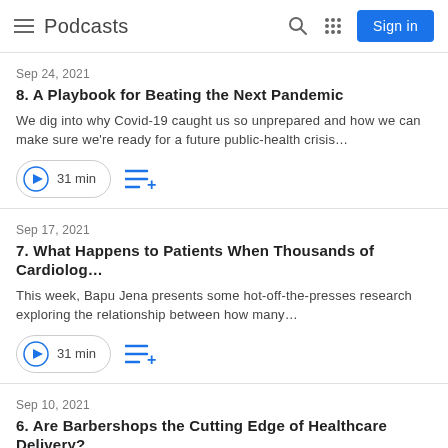Podcasts
Sep 24, 2021
8. A Playbook for Beating the Next Pandemic
We dig into why Covid-19 caught us so unprepared and how we can make sure we're ready for a future public-health crisis…
31 min
Sep 17, 2021
7. What Happens to Patients When Thousands of Cardiolog…
This week, Bapu Jena presents some hot-off-the-presses research exploring the relationship between how many…
31 min
Sep 10, 2021
6. Are Barbershops the Cutting Edge of Healthcare Delivery?
Bapu Jena talks with a barber and a pharmacist whose study